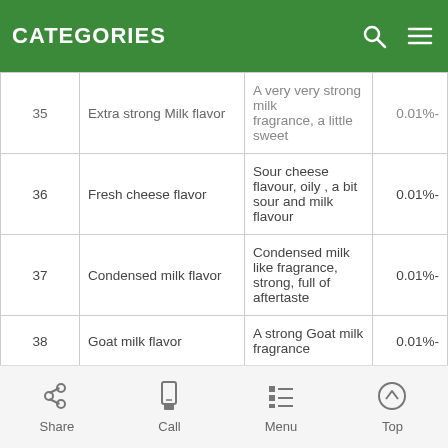CATEGORIES
| # | Name | Description | Usage |
| --- | --- | --- | --- |
| 35 | Extra strong Milk flavor | A very very strong milk fragrance, a little sweet | 0.01%- |
| 36 | Fresh cheese flavor | Sour cheese flavour, oily , a bit sour and milk flavour | 0.01%- |
| 37 | Condensed milk flavor | Condensed milk like fragrance, strong, full of aftertaste | 0.01%- |
| 38 | Goat milk flavor | A strong Goat milk fragrance | 0.01%- |
| 39 | Oat flavor | sweet natural Oat flavor | 0.01%- |
Share  Call  Menu  Top